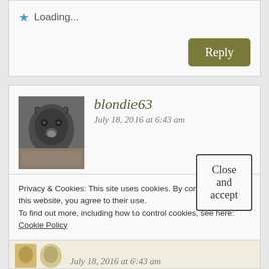Loading...
Reply
blondie63
July 18, 2016 at 6:43 am
[Figure (photo): Small avatar photo of a dark-colored animal (appears to be a dog or cat) against a reddish-brown dirt background]
I would love to win! My favorite tea is Earl Grey and I love cucumber sandwiches!
Privacy & Cookies: This site uses cookies. By continuing to use this website, you agree to their use.
To find out more, including how to control cookies, see here:
Cookie Policy
Close and accept
July 18, 2016 at 6:43 am